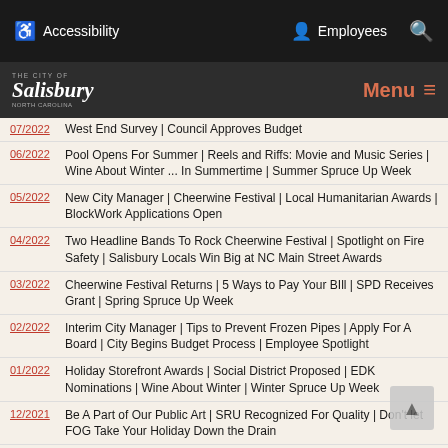Accessibility | Employees | Search
The City of Salisbury, North Carolina | Menu
07/2022 — West End Survey | Council Approves Budget
06/2022 — Pool Opens For Summer | Reels and Riffs: Movie and Music Series | Wine About Winter ... In Summertime | Summer Spruce Up Week
05/2022 — New City Manager | Cheerwine Festival | Local Humanitarian Awards | BlockWork Applications Open
04/2022 — Two Headline Bands To Rock Cheerwine Festival | Spotlight on Fire Safety | Salisbury Locals Win Big at NC Main Street Awards
03/2022 — Cheerwine Festival Returns | 5 Ways to Pay Your BIll | SPD Receives Grant | Spring Spruce Up Week
02/2022 — Interim City Manager | Tips to Prevent Frozen Pipes | Apply For A Board | City Begins Budget Process | Employee Spotlight
01/2022 — Holiday Storefront Awards | Social District Proposed | EDK Nominations | Wine About Winter | Winter Spruce Up Week
12/2021 — Be A Part of Our Public Art | SRU Recognized For Quality | Don't let FOG Take Your Holiday Down the Drain
11/2021 — Bell Tower Green Now Open | Keep Salisbury Beautiful | Shopping Tips For Black Friday
10/2021 — Fire Prevention Week | BlockWork Looking For Volunteers | Leaf Collection Map